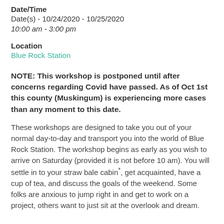Date/Time
Date(s) - 10/24/2020 - 10/25/2020
10:00 am - 3:00 pm
Location
Blue Rock Station
NOTE:  This workshop is postponed until after concerns regarding Covid have passed.  As of Oct 1st this county (Muskingum) is experiencing more cases than any moment to this date.
These workshops are designed to take you out of your normal day-to-day and transport you into the world of Blue Rock Station.  The workshop begins as early as you wish to arrive on Saturday (provided it is not before 10 am).  You will settle in to your straw bale cabin*, get acquainted, have a cup of tea, and discuss the goals of the weekend.  Some folks are anxious to jump right in and get to work on a project, others want to just sit at the overlook and dream.